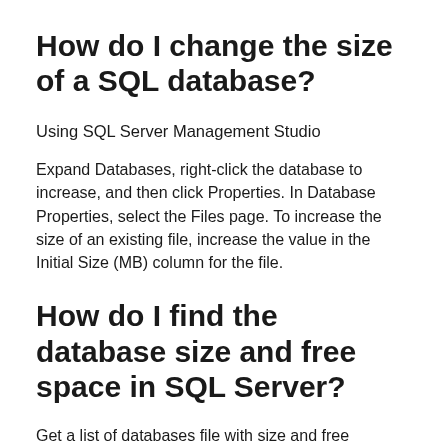How do I change the size of a SQL database?
Using SQL Server Management Studio
Expand Databases, right-click the database to increase, and then click Properties. In Database Properties, select the Files page. To increase the size of an existing file, increase the value in the Initial Size (MB) column for the file.
How do I find the database size and free space in SQL Server?
Get a list of databases file with size and free